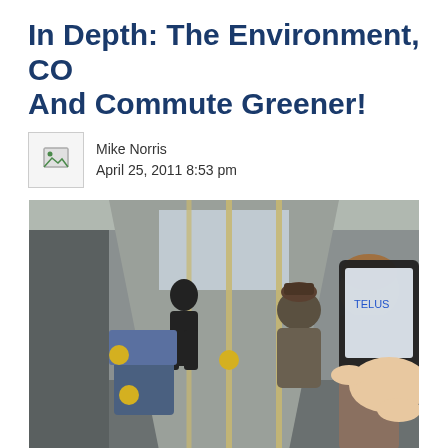In Depth: The Environment, CO And Commute Greener!
Mike Norris
April 25, 2011 8:53 pm
[Figure (photo): Interior of a public transit bus showing passengers seated, a person standing near the front, vertical yellow poles, blue seats, and a hand holding a mobile phone in the foreground on the right side.]
Planet Earth has a finite number of resources and amount of said resources to face larger issues than deciding which Starbucks location to blog away at. Seri